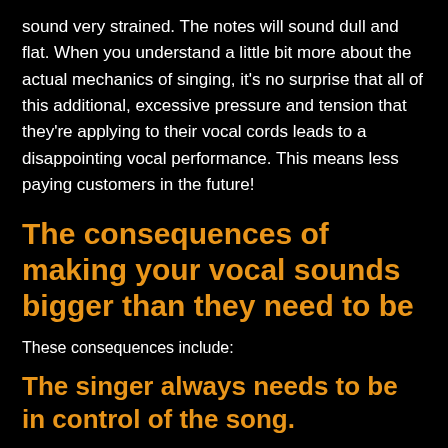sound very strained. The notes will sound dull and flat. When you understand a little bit more about the actual mechanics of singing, it's no surprise that all of this additional, excessive pressure and tension that they're applying to their vocal cords leads to a disappointing vocal performance. This means less paying customers in the future!
The consequences of making your vocal sounds bigger than they need to be
These consequences include:
The singer always needs to be in control of the song.
1. Poor cord closure. The goal of every melodic singer is to